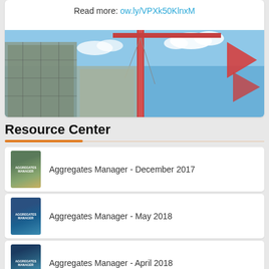Read more: ow.ly/VPXk50KlnxM
[Figure (photo): Construction crane with red arm against blue sky, with scaffolded building on left and red arrow shapes on right]
Resource Center
Aggregates Manager - December 2017
Aggregates Manager - May 2018
Aggregates Manager - April 2018
Where Performance Curves Fall Short